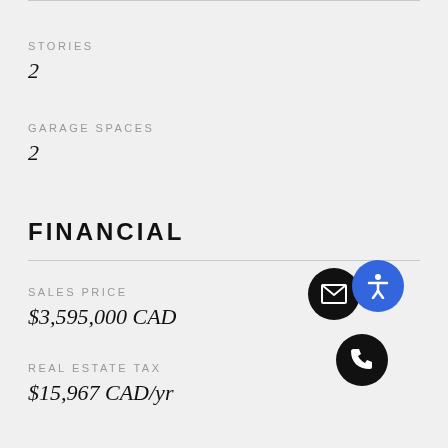STORIES
2
GARAGE SPACES
2
FINANCIAL
SALES PRICE
$3,595,000 CAD
REAL ESTATE TAX
$15,967 CAD/yr